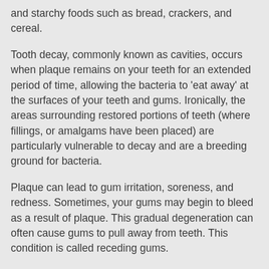and starchy foods such as bread, crackers, and cereal.
Tooth decay, commonly known as cavities, occurs when plaque remains on your teeth for an extended period of time, allowing the bacteria to 'eat away' at the surfaces of your teeth and gums. Ironically, the areas surrounding restored portions of teeth (where fillings, or amalgams have been placed) are particularly vulnerable to decay and are a breeding ground for bacteria.
Plaque can lead to gum irritation, soreness, and redness. Sometimes, your gums may begin to bleed as a result of plaque. This gradual degeneration can often cause gums to pull away from teeth. This condition is called receding gums.
Long-term plaque can lead to serious problems. Sometimes, the bacteria can form pockets of disease around tooth structures, eventually destroying the bone beneath the tooth.